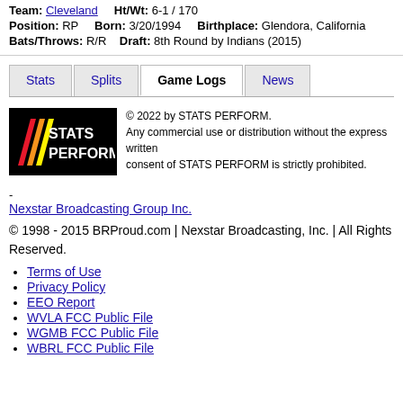Team: Cleveland    Ht/Wt: 6-1 / 170
Position: RP    Born: 3/20/1994    Birthplace: Glendora, California
Bats/Throws: R/R    Draft: 8th Round by Indians (2015)
Stats | Splits | Game Logs | News (navigation tabs)
[Figure (logo): STATS PERFORM logo — black background with multicolored diagonal stripes and white text]
© 2022 by STATS PERFORM. Any commercial use or distribution without the express written consent of STATS PERFORM is strictly prohibited.
Nexstar Broadcasting Group Inc.
© 1998 - 2015 BRProud.com | Nexstar Broadcasting, Inc. | All Rights Reserved.
Terms of Use
Privacy Policy
EEO Report
WVLA FCC Public File
WGMB FCC Public File
WBRL FCC Public File